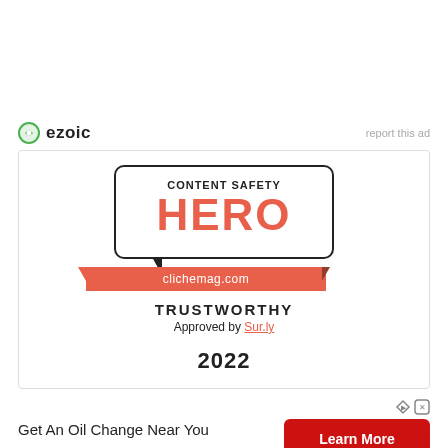[Figure (logo): Ezoic logo with green circular icon and 'ezoic' text, plus 'report this ad' link on the right]
[Figure (infographic): Content Safety HERO badge - speech bubble shape with 'CONTENT SAFETY' label, large red HERO text, red ribbon with 'clichemag.com', TRUSTWORTHY text, 'Approved by Sur.ly' and '2022' year. Red plus icon top right corner of badge.]
Get An Oil Change Near You
[Figure (other): Learn More red button with ad attribution icons]
Ad